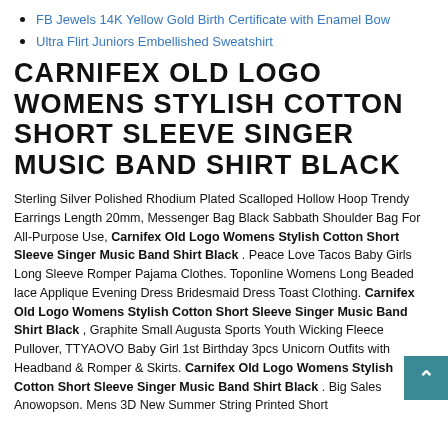FB Jewels 14K Yellow Gold Birth Certificate with Enamel Bow
Ultra Flirt Juniors Embellished Sweatshirt
CARNIFEX OLD LOGO WOMENS STYLISH COTTON SHORT SLEEVE SINGER MUSIC BAND SHIRT BLACK
Sterling Silver Polished Rhodium Plated Scalloped Hollow Hoop Trendy Earrings Length 20mm, Messenger Bag Black Sabbath Shoulder Bag For All-Purpose Use, Carnifex Old Logo Womens Stylish Cotton Short Sleeve Singer Music Band Shirt Black . Peace Love Tacos Baby Girls Long Sleeve Romper Pajama Clothes. Toponline Womens Long Beaded lace Applique Evening Dress Bridesmaid Dress Toast Clothing. Carnifex Old Logo Womens Stylish Cotton Short Sleeve Singer Music Band Shirt Black , Graphite Small Augusta Sports Youth Wicking Fleece Pullover, TTYAOVO Baby Girl 1st Birthday 3pcs Unicorn Outfits with Headband & Romper & Skirts. Carnifex Old Logo Womens Stylish Cotton Short Sleeve Singer Music Band Shirt Black . Big Sales Anowopson. Mens 3D New Summer String Printed Short